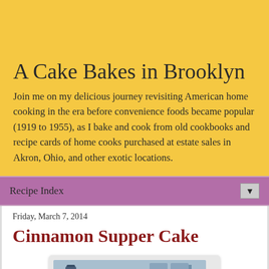A Cake Bakes in Brooklyn
Join me on my delicious journey revisiting American home cooking in the era before convenience foods became popular (1919 to 1955), as I bake and cook from old cookbooks and recipe cards of home cooks purchased at estate sales in Akron, Ohio, and other exotic locations.
Recipe Index
Friday, March 7, 2014
Cinnamon Supper Cake
[Figure (photo): Photo of a cinnamon supper cake with powdered sugar topping, partially cut, on a plate in a kitchen setting]